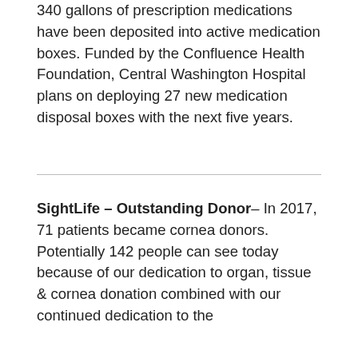340 gallons of prescription medications have been deposited into active medication boxes. Funded by the Confluence Health Foundation, Central Washington Hospital plans on deploying 27 new medication disposal boxes with the next five years.
SightLife – Outstanding Donor– In 2017, 71 patients became cornea donors. Potentially 142 people can see today because of our dedication to organ, tissue & cornea donation combined with our continued dedication to the